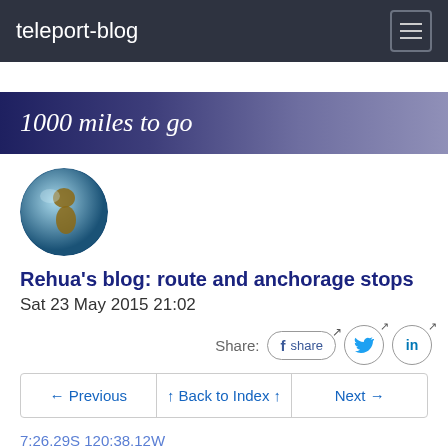teleport-blog
1000 miles to go
[Figure (illustration): Globe emoji / earth illustration showing Europe and Africa]
Rehua's blog: route and anchorage stops
Sat 23 May 2015 21:02
Share: f share (Facebook), Twitter, LinkedIn
← Previous   ↑ Back to Index ↑   Next →
7:26.29S 120:38.12W
We've covered two thirds of the way already! In 11 days!